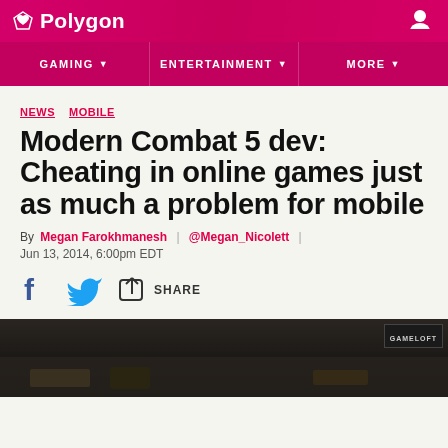Polygon
GAMING | ENTERTAINMENT | MORE
NEWS  MOBILE
Modern Combat 5 dev: Cheating in online games just as much a problem for mobile
By Megan Farokhmanesh | @Megan_Nicolett | Jun 13, 2014, 6:00pm EDT
[Figure (screenshot): Social sharing buttons: Facebook, Twitter, and Share icons]
[Figure (photo): Dark image of a combat game scene from Modern Combat 5, with Gameloft logo badge in top right]